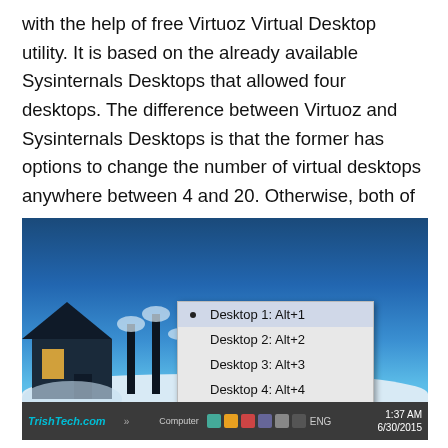with the help of free Virtuoz Virtual Desktop utility. It is based on the already available Sysinternals Desktops that allowed four desktops. The difference between Virtuoz and Sysinternals Desktops is that the former has options to change the number of virtual desktops anywhere between 4 and 20. Otherwise, both of these utilities are similar in all respects – they both are portable applications and run in all versions of Windows.
[Figure (screenshot): Screenshot of a Windows desktop with a snowy night scene background showing a house with lit windows. A context menu is visible showing: Desktop 1: Alt+1 (selected), Desktop 2: Alt+2, Desktop 3: Alt+3, Desktop 4: Alt+4, Exit. The taskbar shows TrishTech.com branding, Computer label, system tray icons, ENG language, and time 1:37 AM 6/30/2015.]